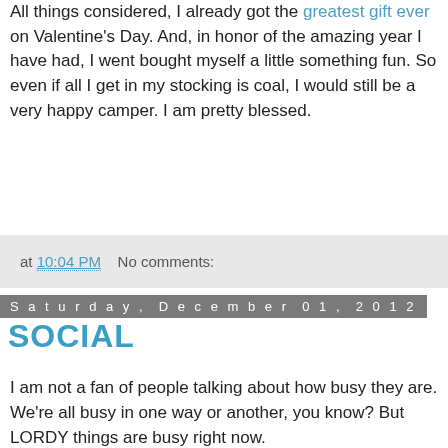All things considered, I already got the greatest gift ever on Valentine's Day. And, in honor of the amazing year I have had, I went bought myself a little something fun. So even if all I get in my stocking is coal, I would still be a very happy camper. I am pretty blessed.
at 10:04 PM   No comments:
Saturday, December 01, 2012
SOCIAL
I am not a fan of people talking about how busy they are. We're all busy in one way or another, you know? But LORDY things are busy right now.
Thanksgiving was lovely. I was just home the weekend before, so it wasn't like I hadn't seen everyone in such a long time. We were all spread out until Thursday night, then we camped out in Birmingham until Sunday. By camped out I mean we shopped, napped, ate leftovers, did lots of playing on the floor, watched football by the fire, and kind of...